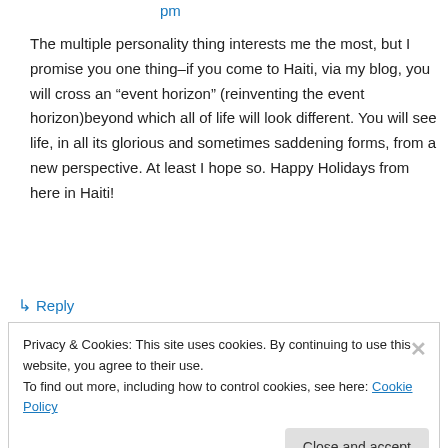pm
The multiple personality thing interests me the most, but I promise you one thing–if you come to Haiti, via my blog, you will cross an “event horizon” (reinventing the event horizon)beyond which all of life will look different. You will see life, in all its glorious and sometimes saddening forms, from a new perspective. At least I hope so. Happy Holidays from here in Haiti!
↳ Reply
Privacy & Cookies: This site uses cookies. By continuing to use this website, you agree to their use.
To find out more, including how to control cookies, see here: Cookie Policy